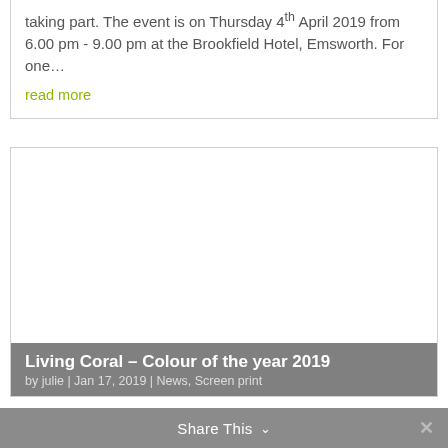taking part. The event is on Thursday 4th April 2019 from 6.00 pm - 9.00 pm at the Brookfield Hotel, Emsworth. For one…
read more
[Figure (other): White blank image area inside a bordered card]
Living Coral – Colour of the year 2019
by julie | Jan 17, 2019 | News, Screen print
Share This